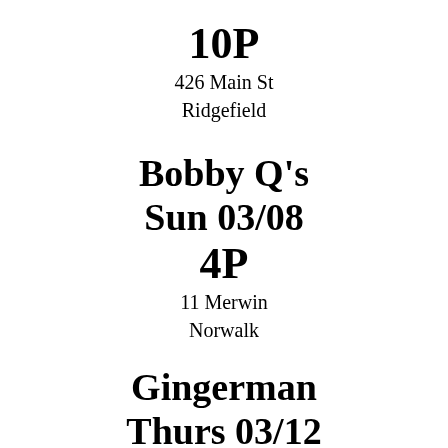10P
426 Main St
Ridgefield
Bobby Q's
Sun 03/08
4P
11 Merwin
Norwalk
Gingerman
Thurs 03/12
9P
Greenwich Ave